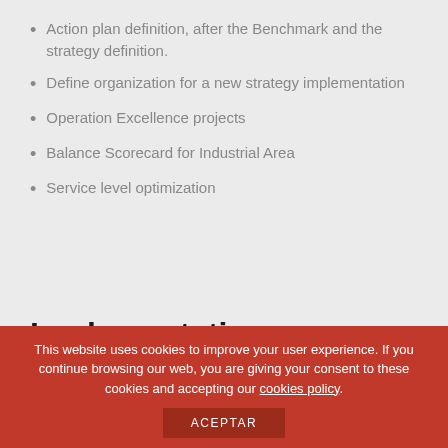Action plan definition, after the Benchmark and the strategy definition.
Define organization for a new strategy implementation
Operation Excellence projects
Balance Scorecard for Industrial Area
Service level optimization
Implementation
This website uses cookies to improve your user experience. If you continue browsing our web, you are giving your consent to these cookies and accepting our cookies policy.